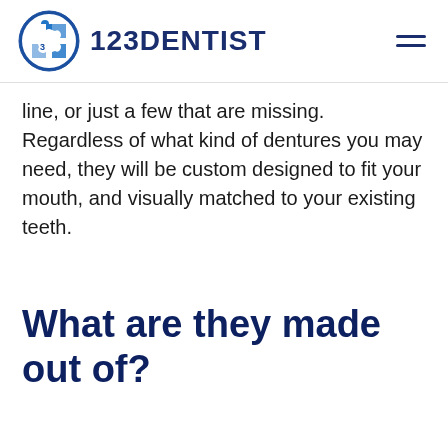123DENTIST
line, or just a few that are missing. Regardless of what kind of dentures you may need, they will be custom designed to fit your mouth, and visually matched to your existing teeth.
What are they made out of?